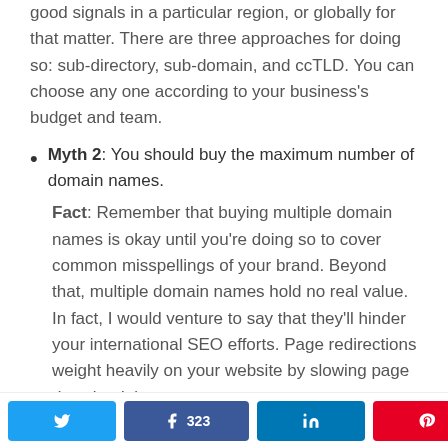good signals in a particular region, or globally for that matter. There are three approaches for doing so: sub-directory, sub-domain, and ccTLD. You can choose any one according to your business's budget and team.
Myth 2: You should buy the maximum number of domain names.
Fact: Remember that buying multiple domain names is okay until you're doing so to cover common misspellings of your brand. Beyond that, multiple domain names hold no real value. In fact, I would venture to say that they'll hinder your international SEO efforts. Page redirections weight heavily on your website by slowing page download times.
323 SHARES (Twitter, Facebook 323, LinkedIn, Pinterest, Share)